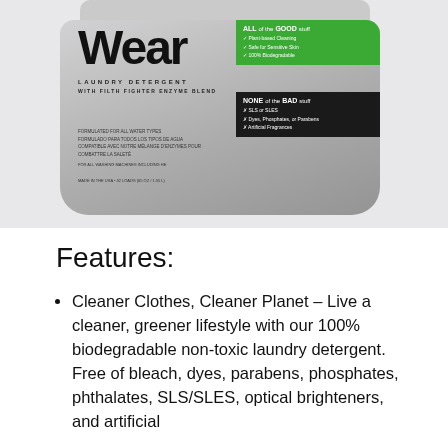[Figure (photo): Product photo of a laundry detergent bag branded 'Wear' with 'Laundry Detergent with Filth Fighter Enzyme Blend' text. The bag has a green box labeled 'ALL the GOOD stuff' listing plant-based cleaning, safe for sensitive skin, 100% biodegradable, and a black box labeled 'NONE of the BAD stuff' listing no SLS or SLES, dyes, phosphates, or parabens, no artificial fragrances.]
Features:
Cleaner Clothes, Cleaner Planet – Live a cleaner, greener lifestyle with our 100% biodegradable non-toxic laundry detergent. Free of bleach, dyes, parabens, phosphates, phthalates, SLS/SLES, optical brighteners, and artificial